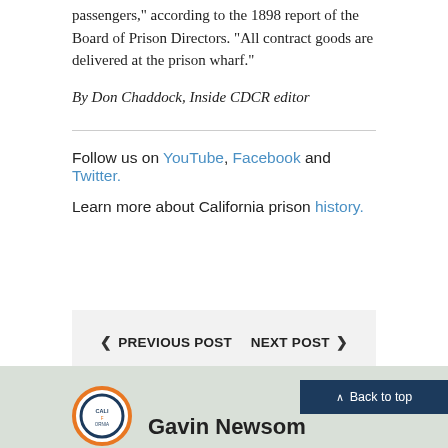passengers," according to the 1898 report of the Board of Prison Directors. "All contract goods are delivered at the prison wharf."
By Don Chaddock, Inside CDCR editor
Follow us on YouTube, Facebook and Twitter.
Learn more about California prison history.
< PREVIOUS POST    NEXT POST >
[Figure (logo): California state government circular logo with orange and blue ring, text CALIFORNIA]
Gavin Newsom